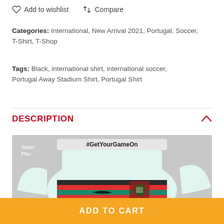♡ Add to wishlist   ⇄ Compare
Categories: International, New Arrival 2021, Portugal, Soccer, T-Shirt, T-Shop
Tags: Black, international shirt, international soccer, Portugal Away Stadium Shirt, Portugal Shirt
DESCRIPTION
[Figure (photo): Portugal away stadium shirt displayed on a mannequin with #GetYourGameOn text overlay and a watermark logo in top left. The shirt is white/mint with a colorful striped band (red, dark, teal, red) across the chest featuring the Portugal crest and Nike swoosh.]
ADD TO CART